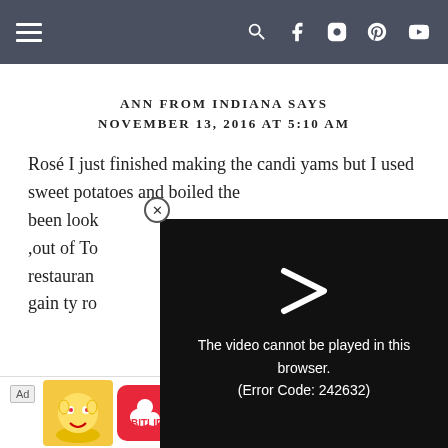Navigation header with hamburger menu and social icons
ANN FROM INDIANA SAYS
NOVEMBER 13, 2016 AT 5:10 AM
Rosé I just finished making the candi yams but I used sweet potatoes and boiled the been look ,out of To restauran gain ty ro
[Figure (screenshot): Video player overlay showing error message: The video cannot be played in this browser. (Error Code: 242632)]
[Figure (screenshot): Ad banner: BitLife - Life Simulator with Install button]